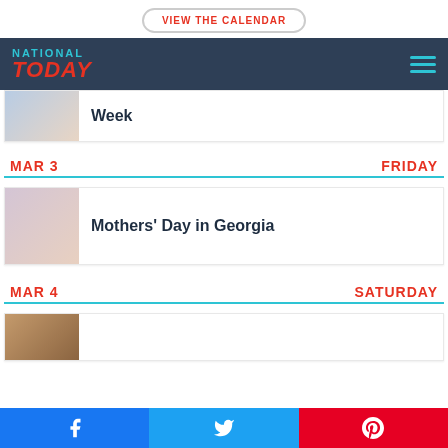VIEW THE CALENDAR
NATIONAL TODAY
Week
MAR 3 FRIDAY
[Figure (photo): Woman and child reading together]
Mothers' Day in Georgia
MAR 4 SATURDAY
[Figure (photo): Person silhouette photo]
Social sharing bar with Facebook, Twitter, Pinterest buttons